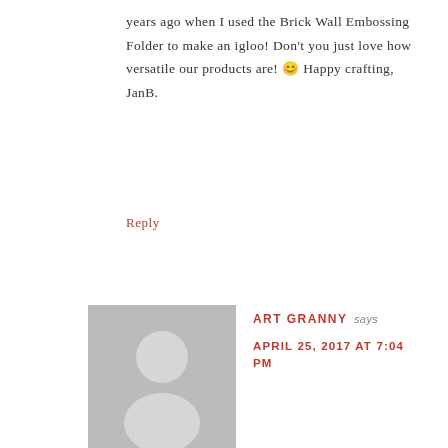years ago when I used the Brick Wall Embossing Folder to make an igloo! Don't you just love how versatile our products are! 😊 Happy crafting, JanB.
Reply
[Figure (illustration): Gray placeholder avatar showing silhouette of a person (head and shoulders)]
ART GRANNY says
APRIL 25, 2017 AT 7:04 PM